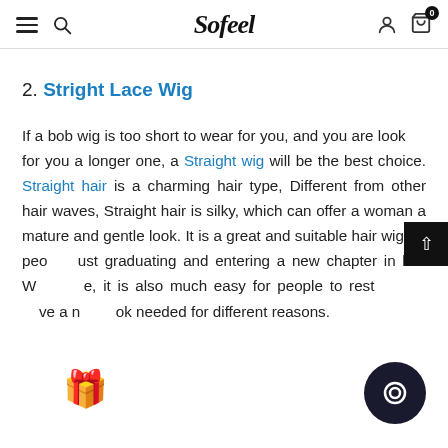Sofeel — navigation header with hamburger menu, search, user icon, cart (0)
2. Stright Lace Wig
If a bob wig is too short to wear for you, and you are looking for you a longer one, a Straight wig will be the best choice. Straight hair is a charming hair type, Different from other hair waves, Straight hair is silky, which can offer a woman a mature and gentle look. It is a great and suitable hair wig for people just graduating and entering a new chapter in life. With ease, it is also much easy for people to restyle and have a new look needed for different reasons.